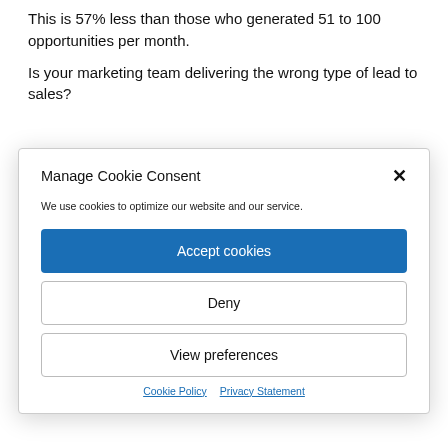This is 57% less than those who generated 51 to 100 opportunities per month.
Is your marketing team delivering the wrong type of lead to sales?
Manage Cookie Consent
We use cookies to optimize our website and our service.
Accept cookies
Deny
View preferences
Cookie Policy  Privacy Statement